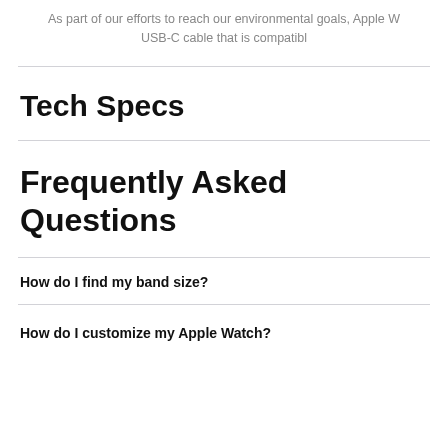As part of our efforts to reach our environmental goals, Apple W USB-C cable that is compatibl
Tech Specs
Frequently Asked Questions
How do I find my band size?
How do I customize my Apple Watch?